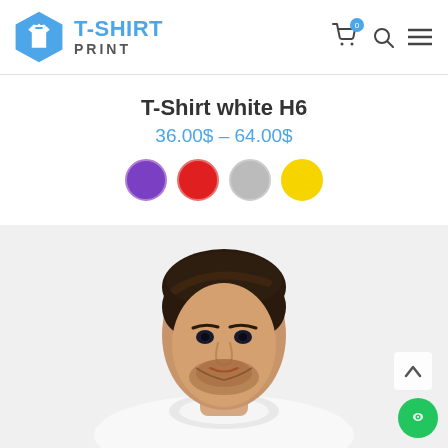[Figure (logo): T-Shirt Print logo with blue hexagon containing a white t-shirt icon, with 'T-SHIRT' in blue bold text and 'PRINT' in gray below]
T-Shirt white H6
36.00$ – 64.00$
[Figure (infographic): Four color swatches: purple, red, gray, yellow]
[Figure (photo): Young man with dark hair wearing a white t-shirt against a light gray background, product photo for white t-shirt H6]